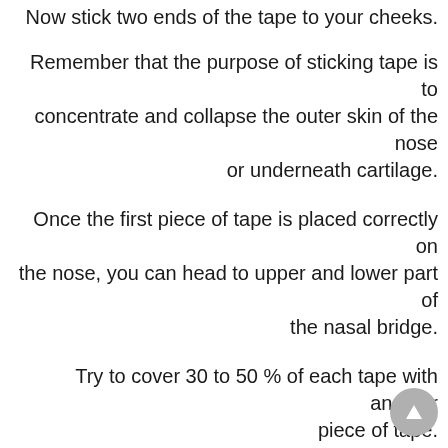.Now stick two ends of the tape to your cheeks
Remember that the purpose of sticking tape is to concentrate and collapse the outer skin of the nose .or underneath cartilage
Once the first piece of tape is placed correctly on the nose, you can head to upper and lower part of .the nasal bridge
Try to cover 30 to 50 % of each tape with another .piece of tape
When you are finished with the nose should be look as if a gluey cast has been made that fits the